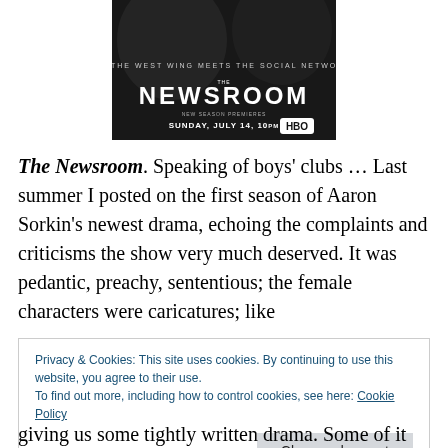[Figure (photo): Black and white promotional image for HBO's The Newsroom TV show, showing the show title and 'Sunday, July 14, 10pm HBO' text]
The Newsroom. Speaking of boys' clubs … Last summer I posted on the first season of Aaron Sorkin's newest drama, echoing the complaints and criticisms the show very much deserved. It was pedantic, preachy, sententious; the female characters were caricatures; like
Privacy & Cookies: This site uses cookies. By continuing to use this website, you agree to their use.
To find out more, including how to control cookies, see here: Cookie Policy
[Close and accept]
giving us some tightly written drama. Some of it feels